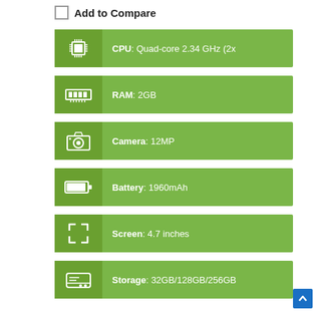Add to Compare
CPU: Quad-core 2.34 GHz (2x
RAM: 2GB
Camera: 12MP
Battery: 1960mAh
Screen: 4.7 inches
Storage: 32GB/128GB/256GB
| Specs |
| --- |
| Overview |